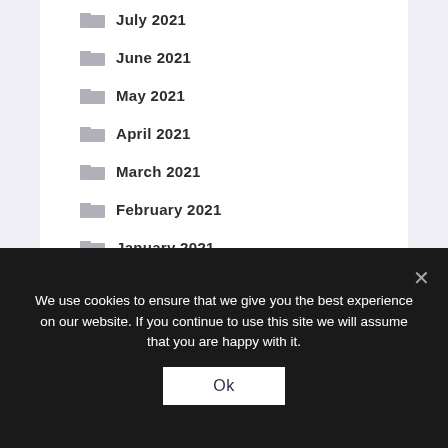July 2021
June 2021
May 2021
April 2021
March 2021
February 2021
January 2021
December 2020
November 2020
October 2020
September 2020
We use cookies to ensure that we give you the best experience on our website. If you continue to use this site we will assume that you are happy with it.